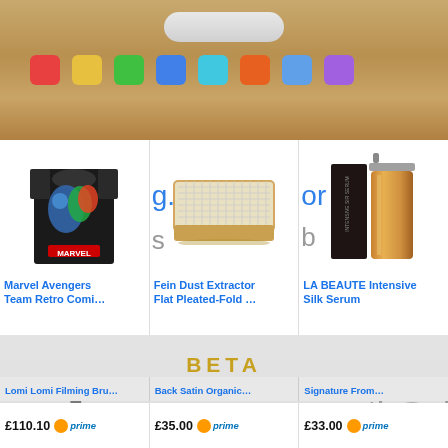[Figure (screenshot): Top portion of a blurred iOS/app interface showing a warm golden-brown background with a rounded rectangular button at top and colorful app icon dots below]
[Figure (photo): Marvel Avengers Team Retro Comic style black t-shirt with superhero graphic]
[Figure (photo): Fein Dust Extractor Flat Pleated-Fold filter, beige/orange rectangular filter with grid mesh]
[Figure (photo): LA BEAUTE Intensive Silk Serum product set with dark book and amber glass bottle]
Marvel Avengers Team Retro Comi...
Fein Dust Extractor Flat Pleated-Fold ...
LA BEAUTE Intensive Silk Serum
[Figure (screenshot): Genie BETA app logo screenshot showing large grey 'enie' text with gold 'BETA' label above, and 'the all' text to the right with an up-arrow circle icon. Background is light grey with subtle reflection.]
£110.10   prime
£35.00   prime
£33.00   prime